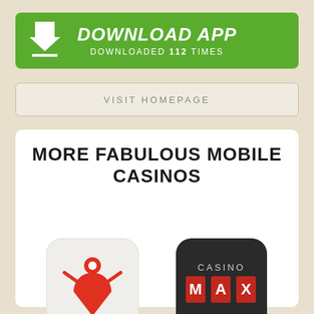[Figure (screenshot): Green download app button with download arrow icon, title DOWNLOAD APP in bold italic white, subtitle DOWNLOADED 112 TIMES in white]
VISIT HOMEPAGE
MORE FABULOUS MOBILE CASINOS
[Figure (logo): Everygame casino app icon - light beige background with red person/pin icon and everygame text]
EVERYGAME APP
[Figure (logo): Casino Max app icon - dark background with CASINO MAX logo in red and white]
CASINO MAX APP